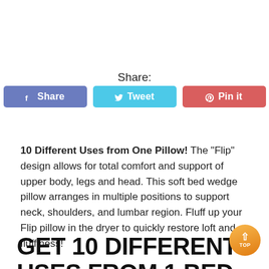Share:
[Figure (other): Social share buttons: Facebook Share, Tweet, Pin it]
10 Different Uses from One Pillow! The "Flip" design allows for total comfort and support of upper body, legs and head. This soft bed wedge pillow arranges in multiple positions to support neck, shoulders, and lumbar region. Fluff up your Flip pillow in the dryer to quickly restore loft and fluffiness!
GET 10 DIFFERENT USES FROM 1 BED WEDGE PILLOW!